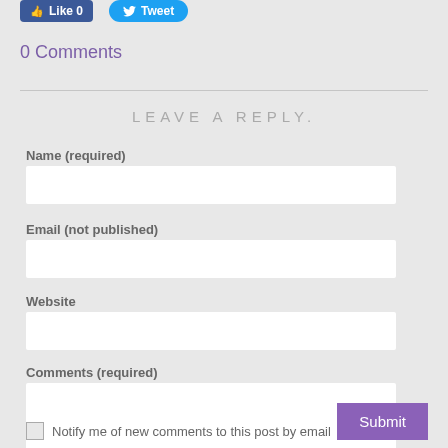[Figure (screenshot): Facebook Like button (blue) showing '0' count and Twitter Tweet button (blue)]
0 Comments
LEAVE A REPLY.
Name (required)
Email (not published)
Website
Comments (required)
Notify me of new comments to this post by email